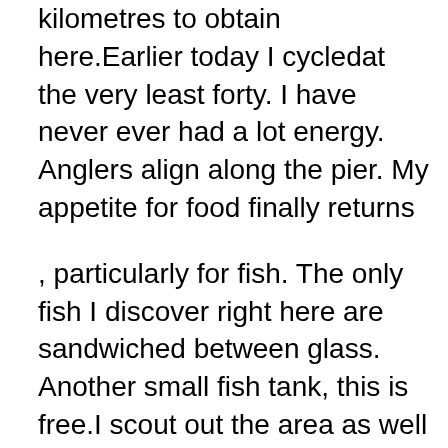kilometres to obtain here.Earlier today I cycledat the very least forty. I have never ever had a lot energy. Anglers align along the pier. My appetite for food finally returns
, particularly for fish. The only fish I discover right here are sandwiched between glass. Another small fish tank, this is free.I scout out the area as well as locate an additional temple. I have actually been discovering a great deal of these today.
The pier looks proficient at evening with its several lights. I go inside the food court. The only place right here with any appeal is aFrench dining establishment. As I approach it, the lights go out. Closed at 9 oclock sharp. I head back to Hakata.